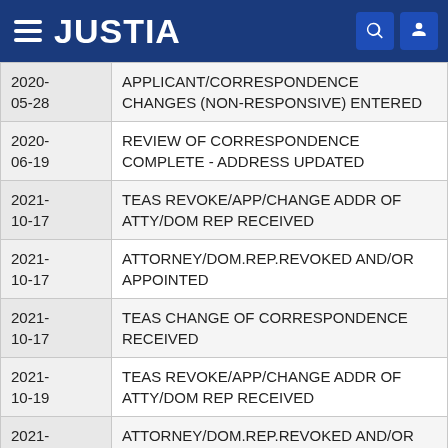JUSTIA
| Date | Event |
| --- | --- |
| 2020-05-28 | APPLICANT/CORRESPONDENCE CHANGES (NON-RESPONSIVE) ENTERED |
| 2020-06-19 | REVIEW OF CORRESPONDENCE COMPLETE - ADDRESS UPDATED |
| 2021-10-17 | TEAS REVOKE/APP/CHANGE ADDR OF ATTY/DOM REP RECEIVED |
| 2021-10-17 | ATTORNEY/DOM.REP.REVOKED AND/OR APPOINTED |
| 2021-10-17 | TEAS CHANGE OF CORRESPONDENCE RECEIVED |
| 2021-10-19 | TEAS REVOKE/APP/CHANGE ADDR OF ATTY/DOM REP RECEIVED |
| 2021-10-19 | ATTORNEY/DOM.REP.REVOKED AND/OR APPOINTED |